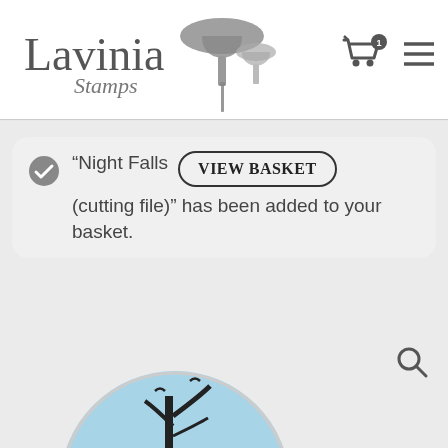[Figure (logo): Lavinia Stamps logo with mushroom illustration and script 'Stamps' text]
[Figure (other): Shopping cart icon with badge showing '1' and hamburger menu icon]
“Night Falls (cutting file)” has been added to your basket.
[Figure (other): VIEW BASKET button with rounded border]
[Figure (other): Partial view of a product image showing a circular design with silhouette of a tree and birds at night, with a search magnifier icon]